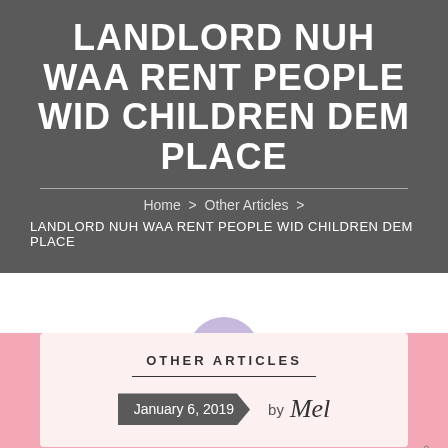LANDLORD NUH WAA RENT PEOPLE WID CHILDREN DEM PLACE
Home > Other Articles > LANDLORD NUH WAA RENT PEOPLE WID CHILDREN DEM PLACE
OTHER ARTICLES
January 6, 2019 by Mel